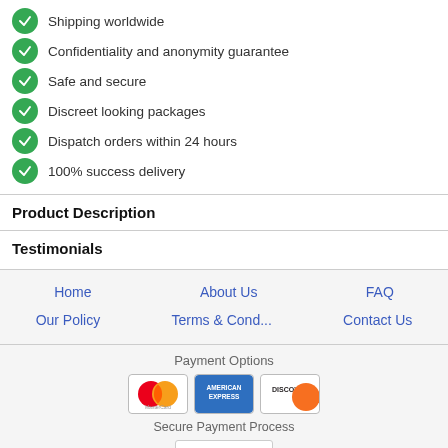Shipping worldwide
Confidentiality and anonymity guarantee
Safe and secure
Discreet looking packages
Dispatch orders within 24 hours
100% success delivery
Product Description
Testimonials
Home   About Us   FAQ   Our Policy   Terms & Cond...   Contact Us
Payment Options
[Figure (other): Payment card logos: MasterCard, American Express, Discover]
Secure Payment Process
[Figure (logo): Certified badge logo]
Copyright © rx-qualityshop.com